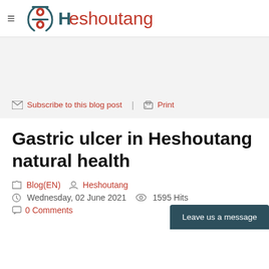[Figure (logo): Heshoutang logo with Chinese character icon and brand name in dark teal and red]
Subscribe to this blog post  |  Print
Gastric ulcer in Heshoutang natural health
Blog(EN)  Heshoutang
Wednesday, 02 June 2021  1595 Hits
0 Comments
Leave us a message